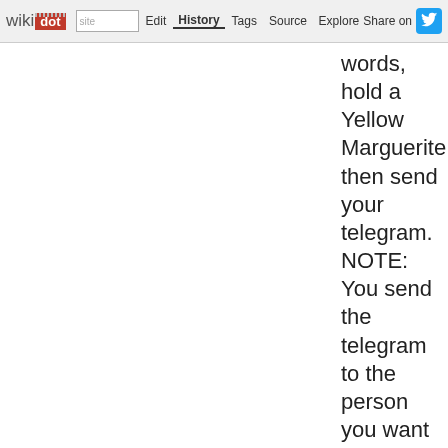wikidot | site | Edit | History | Tags | Source | Explore | Share on [Twitter]
words, hold a Yellow Marguerite, then send your telegram. NOTE: You send the telegram to the person you want to reconcile with.
Sit by Me
Incantation-Class-Date-[Classmate] Transform and say the words while in your classroom seat. Hold a